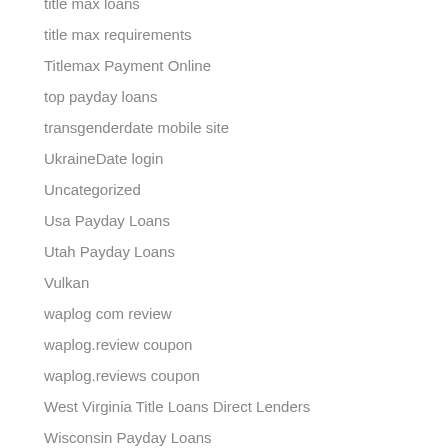title max loans
title max requirements
Titlemax Payment Online
top payday loans
transgenderdate mobile site
UkraineDate login
Uncategorized
Usa Payday Loans
Utah Payday Loans
Vulkan
waplog com review
waplog.review coupon
waplog.reviews coupon
West Virginia Title Loans Direct Lenders
Wisconsin Payday Loans